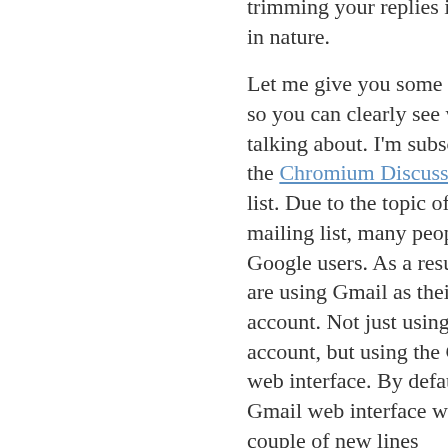trimming your replies is similar in nature.
Let me give you some examples, so you can clearly see what I'm talking about. I'm subscribed to the Chromium Discuss mailing list. Due to the topic of the mailing list, many people are big Google users. As a result, many are using Gmail as their primary account. Not just using the account, but using the Gmail web interface. By default, the Gmail web interface will put a couple of new lines